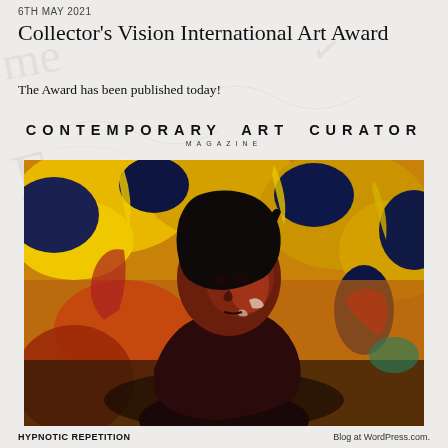6TH MAY 2021
Collector's Vision International Art Award
The Award has been published today!
CONTEMPORARY ART CURATOR
MAGAZINE
[Figure (illustration): Painting of a young woman with braided hair, looking over her shoulder, set against an abstract expressionist background of yellow, orange, and dark blue brushstrokes.]
HYPNOTIC REPETITION Blog at WordPress.com.